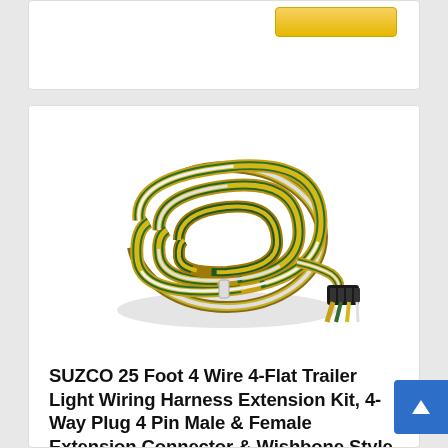[Figure (photo): Coiled 4-wire flat trailer wiring harness with yellow, brown, green, and white wires, with a 4-pin flat connector visible]
SUZCO 25 Foot 4 Wire 4-Flat Trailer Light Wiring Harness Extension Kit, 4-Way Plug 4 Pin Male & Female Extension Connector & Wishbone Style